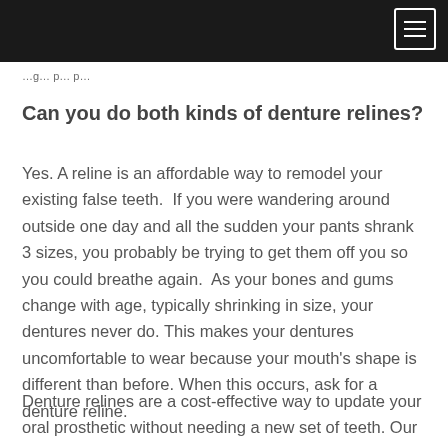…g… p… p…
Can you do both kinds of denture relines?
Yes. A reline is an affordable way to remodel your existing false teeth.  If you were wandering around outside one day and all the sudden your pants shrank 3 sizes, you probably be trying to get them off you so you could breathe again.  As your bones and gums change with age, typically shrinking in size, your dentures never do. This makes your dentures uncomfortable to wear because your mouth's shape is different than before. When this occurs, ask for a denture reline.
Denture relines are a cost-effective way to update your oral prosthetic without needing a new set of teeth. Our experienced dentists can walk you through the different…